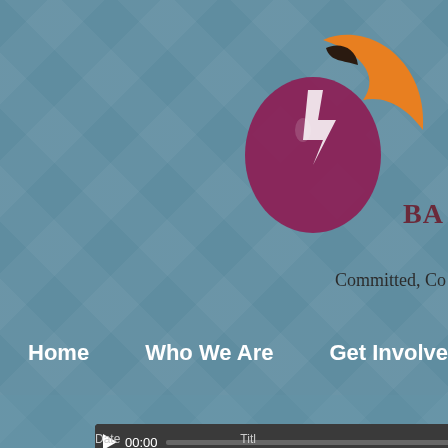[Figure (logo): Church logo with purple and orange bird/cross icon, text 'BA' and tagline 'Committed, Co...']
Home    Who We Are    Get Involved    Online Giv...
[Figure (screenshot): Video player showing black screen with caption: "When God Gives a Test, Will You Pass?" from The Book of Matthew by J...]
"When God Gives a Test, Will You Pass?" from The Book of Matthew by J...
Date    Title